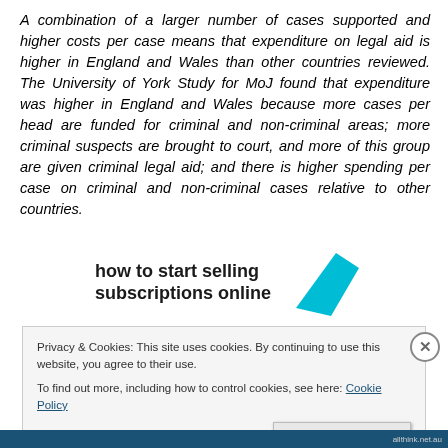A combination of a larger number of cases supported and higher costs per case means that expenditure on legal aid is higher in England and Wales than other countries reviewed. The University of York Study for MoJ found that expenditure was higher in England and Wales because more cases per head are funded for criminal and non-criminal areas; more criminal suspects are brought to court, and more of this group are given criminal legal aid; and there is higher spending per case on criminal and non-criminal cases relative to other countries.
[Figure (other): Advertisement banner: 'How to start selling subscriptions online' with a cyan/blue geometric shape]
Privacy & Cookies: This site uses cookies. By continuing to use this website, you agree to their use.
To find out more, including how to control cookies, see here: Cookie Policy
Close and accept